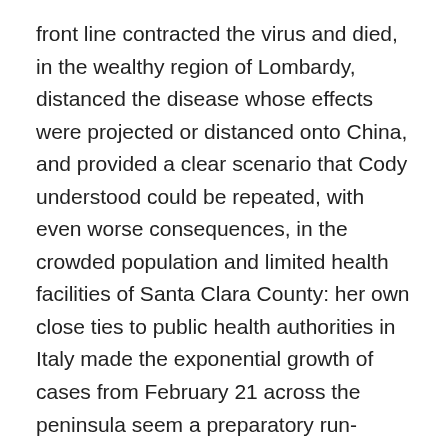front line contracted the virus and died, in the wealthy region of Lombardy, distanced the disease whose effects were projected or distanced onto China, and provided a clear scenario that Cody understood could be repeated, with even worse consequences, in the crowded population and limited health facilities of Santa Clara County: her own close ties to public health authorities in Italy made the exponential growth of cases from February 21 across the peninsula seem a preparatory run-through for a future disaster, as China was sending increasing medical supplies and specialists to Italy in a global story as a pandemic was declared in China March 11; northern provinces were declared under lockdown March 8 quickly extended to the nation, as a spike in 1,247 cases were found on the previous day.